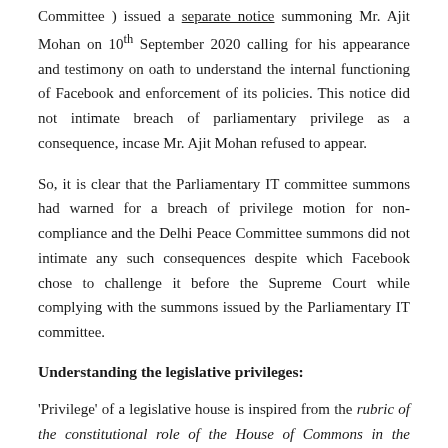Committee ) issued a separate notice summoning Mr. Ajit Mohan on 10th September 2020 calling for his appearance and testimony on oath to understand the internal functioning of Facebook and enforcement of its policies. This notice did not intimate breach of parliamentary privilege as a consequence, incase Mr. Ajit Mohan refused to appear.
So, it is clear that the Parliamentary IT committee summons had warned for a breach of privilege motion for non-compliance and the Delhi Peace Committee summons did not intimate any such consequences despite which Facebook chose to challenge it before the Supreme Court while complying with the summons issued by the Parliamentary IT committee.
Understanding the legislative privileges:
'Privilege' of a legislative house is inspired from the rubric of the constitutional role of the House of Commons in the United